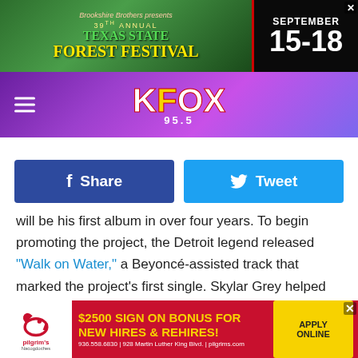[Figure (photo): Texas State Forest Festival banner ad with green forest background, showing '39th Annual Texas State Forest Festival' text and date September 15-18]
[Figure (logo): KFOX 95.5 radio station header with purple/violet geometric background and white KFOX 95.5 logo]
[Figure (screenshot): Facebook Share button (dark blue) and Twitter Tweet button (light blue)]
will be his first album in over four years. To begin promoting the project, the Detroit legend released "Walk on Water," a Beyoncé-assisted track that marked the project's first single. Skylar Grey helped write the song, which she speaks to XXL about in a new interview. The track finds Eminem reflecting on his place in the rap game while exorcising his writer's block demons. Revival is all set to drop on Dec. 15.
See Elton John remember the special wedding gift Em
[Figure (photo): Pilgrim's Pride advertisement: '$2500 SIGN ON BONUS FOR NEW HIRES & REHIRES! APPLY ONLINE' with red background and yellow text, Pilgrim's logo on left, phone number 936.558.6830 and address 928 Martin Luther King Blvd., pilgrims.com]